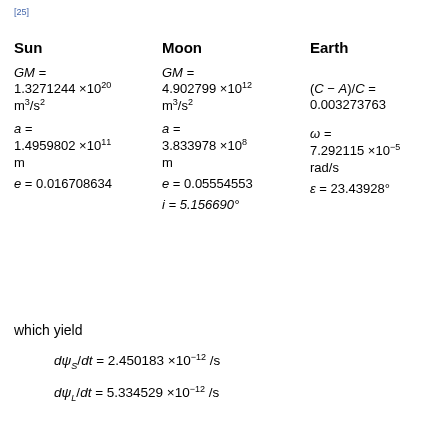[25]
Sun   Moon   Earth
GM =   GM =
1.3271244 × 10^20 m³/s²   4.902799 × 10^12 m³/s²   (C − A)/C = 0.003273763
a =   a =   ω =
1.4959802 × 10^11 m   3.833978 × 10^8 m   7.292115 × 10^−5 rad/s
e = 0.016708634   e = 0.05554553   ε = 23.43928°
  i = 5.156690°
which yield